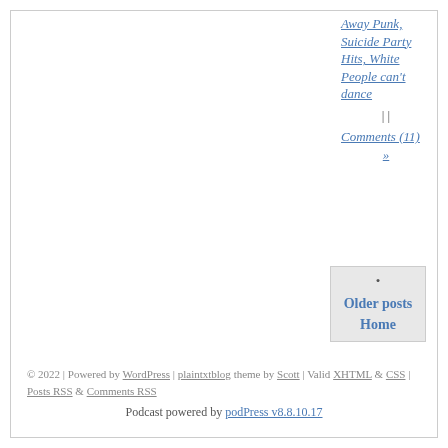Away Punk, Suicide Party Hits, White People can't dance
| |
Comments (11)
»
• Older posts Home
© 2022 | Powered by WordPress | plaintxtblog theme by Scott | Valid XHTML & CSS | Posts RSS & Comments RSS
Podcast powered by podPress v8.8.10.17